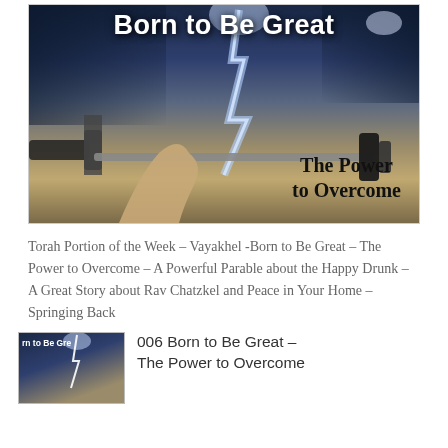[Figure (illustration): Book/podcast cover image showing a person lifting a heavy barbell overhead against a dramatic stormy sky with lightning. Bold white text at top reads 'Born to Be Great' and black bold text in lower right reads 'The Power to Overcome'.]
Torah Portion of the Week – Vayakhel -Born to Be Great – The Power to Overcome – A Powerful Parable about the Happy Drunk – A Great Story about Rav Chatzkel and Peace in Your Home – Springing Back
[Figure (illustration): Small thumbnail image of the 'Born to Be Great' podcast/book cover with a dark stormy background and text 'rn to Be Gre' visible.]
006 Born to Be Great – The Power to Overcome